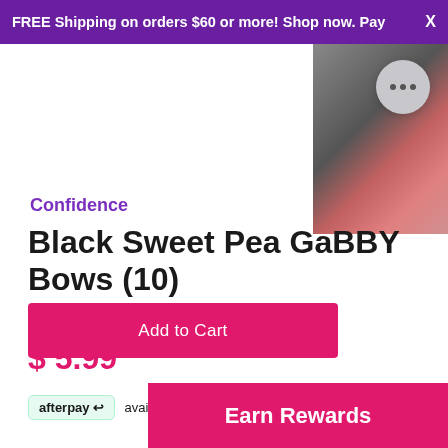FREE Shipping on orders $60 or more! Shop now. Pay  X
[Figure (photo): Product image of Black Sweet Pea GaBBY Bows with chat bubble overlay]
Confidence
Black Sweet Pea GaBBY Bows (10)
$ 5.99
afterpay  available for orders between $35 - $1,000 ⓘ
Add to Cart
Earn Rewards